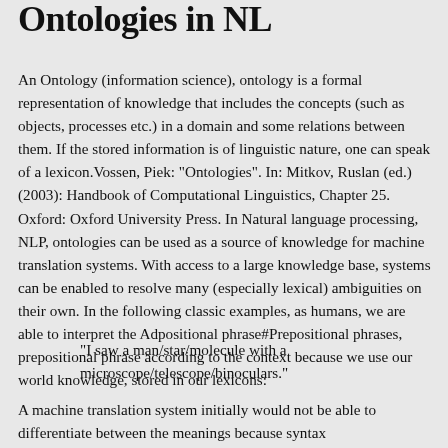Ontologies in NL
An Ontology (information science), ontology is a formal representation of knowledge that includes the concepts (such as objects, processes etc.) in a domain and some relations between them. If the stored information is of linguistic nature, one can speak of a lexicon.Vossen, Piek: "Ontologies". In: Mitkov, Ruslan (ed.) (2003): Handbook of Computational Linguistics, Chapter 25. Oxford: Oxford University Press. In Natural language processing, NLP, ontologies can be used as a source of knowledge for machine translation systems. With access to a large knowledge base, systems can be enabled to resolve many (especially lexical) ambiguities on their own. In the following classic examples, as humans, we are able to interpret the Adpositional phrase#Prepositional phrases, prepositional phrase according to the context because we use our world knowledge, stored in our lexicons:
"I saw a man/star/molecule with a microscope/telescope/binoculars."
A machine translation system initially would not be able to differentiate between the meanings because syntax